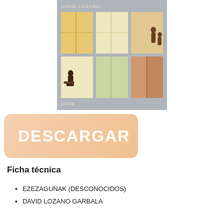[Figure (illustration): Book cover for 'Ezezagunak' by David Lozano, published by Giltza. Gray background with apartment building windows showing warm-colored glowing windows and silhouettes of people. Author name 'DAVID LOZANO' at top, publisher 'giltza' at bottom.]
[Figure (other): Orange/peach gradient download button with bold white text 'DESCARGAR' and a green download icon circle with arrow.]
Ficha técnica
EZEZAGUNAK (DESCONOCIDOS)
DAVID LOZANO GARBALA